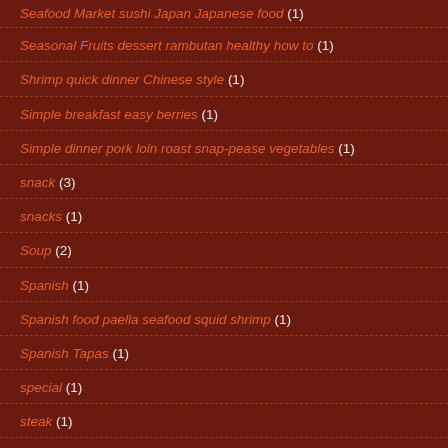Seafood Market sushi Japan Japanese food (1)
Seasonal Fruits dessert rambutan healthy how to (1)
Shrimp quick dinner Chinese style (1)
Simple breakfast easy berries (1)
Simple dinner pork loin roast snap-pease vegetables (1)
snack (3)
snacks (1)
Soup (2)
Spanish (1)
Spanish food paella seafood squid shrimp (1)
Spanish Tapas (1)
special (1)
steak (1)
Steamed (1)
store (1)
Street food (1)
Taco (1)
tapas (2)